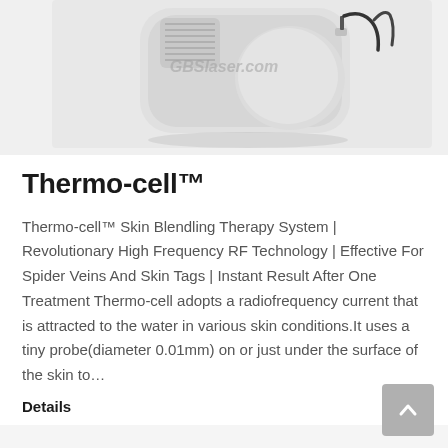[Figure (photo): White medical/cosmetic device (Thermo-cell skin blending therapy system) photographed against a white background. Device has a rectangular body with vented top and a cord/cable attached. Watermark text 'GBSlaser.com' visible in the upper portion.]
Thermo-cell™
Thermo-cell™ Skin Blendling Therapy System | Revolutionary High Frequency RF Technology | Effective For Spider Veins And Skin Tags | Instant Result After One Treatment Thermo-cell adopts a radiofrequency current that is attracted to the water in various skin conditions.It uses a tiny probe(diameter 0.01mm) on or just under the surface of the skin to…
Details